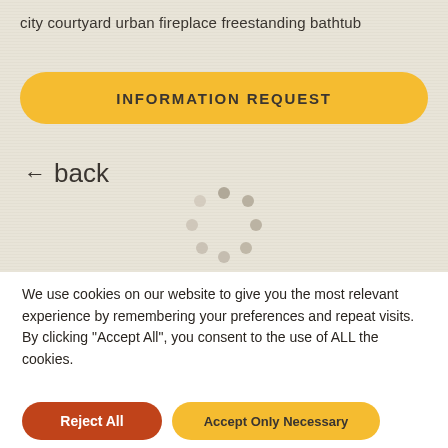city courtyard urban fireplace freestanding bathtub
INFORMATION REQUEST
← back
[Figure (other): Loading spinner icon made of grey dots arranged in a circle]
We use cookies on our website to give you the most relevant experience by remembering your preferences and repeat visits. By clicking "Accept All", you consent to the use of ALL the cookies.
Reject All
Accept Only Necessary